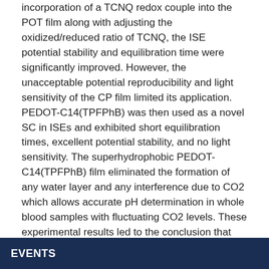incorporation of a TCNQ redox couple into the POT film along with adjusting the oxidized/reduced ratio of TCNQ, the ISE potential stability and equilibration time were significantly improved. However, the unacceptable potential reproducibility and light sensitivity of the CP film limited its application. PEDOT-C14(TPFPhB) was then used as a novel SC in ISEs and exhibited short equilibration times, excellent potential stability, and no light sensitivity. The superhydrophobic PEDOT-C14(TPFPhB) film eliminated the formation of any water layer and any interference due to CO2 which allows accurate pH determination in whole blood samples with fluctuating CO2 levels. These experimental results led to the conclusion that PEDOT-C14(TPFPhB) may be the ideal SC for SC ISEs requiring minimal to no calibration.
EVENTS